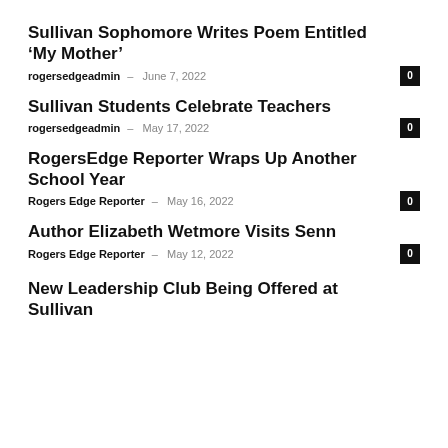Sullivan Sophomore Writes Poem Entitled ‘My Mother’
rogersedgeadmin – June 7, 2022
Sullivan Students Celebrate Teachers
rogersedgeadmin – May 17, 2022
RogersEdge Reporter Wraps Up Another School Year
Rogers Edge Reporter – May 16, 2022
Author Elizabeth Wetmore Visits Senn
Rogers Edge Reporter – May 12, 2022
New Leadership Club Being Offered at Sullivan